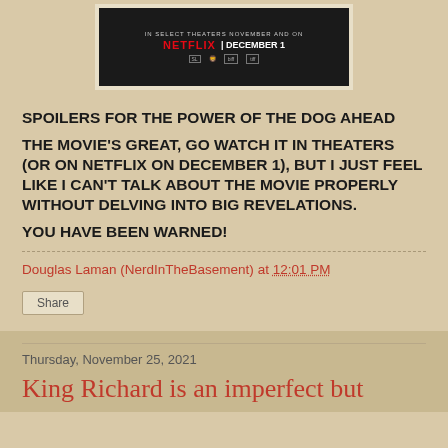[Figure (photo): Movie poster/banner for a Netflix film showing 'In Select Theaters November and on Netflix | December 1' with festival logos (TIFF, Venice) on a dark background with a shadowy figure]
SPOILERS FOR THE POWER OF THE DOG AHEAD
THE MOVIE'S GREAT, GO WATCH IT IN THEATERS (OR ON NETFLIX ON DECEMBER 1), BUT I JUST FEEL LIKE I CAN'T TALK ABOUT THE MOVIE PROPERLY WITHOUT DELVING INTO BIG REVELATIONS.
YOU HAVE BEEN WARNED!
Douglas Laman (NerdInTheBasement) at 12:01 PM
Share
Thursday, November 25, 2021
King Richard is an imperfect but